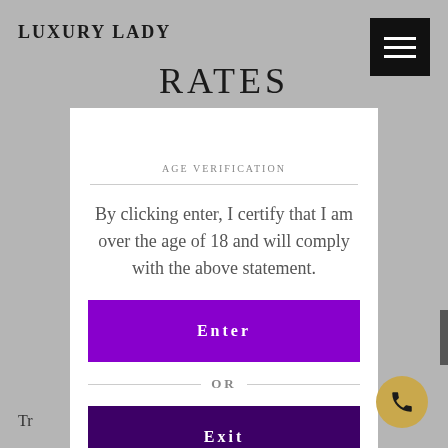LUXURY LADY
RATES
AGE VERIFICATION
By clicking enter, I certify that I am over the age of 18 and will comply with the above statement.
Enter
OR
Exit
Tr